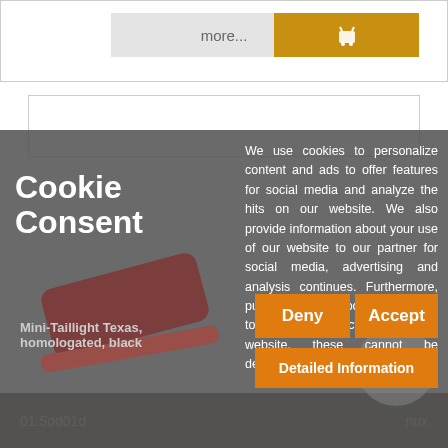[Figure (screenshot): Top section of an e-commerce product page showing a 'more...' button and a shopping cart (add to cart) button in gold/orange color]
[Figure (screenshot): Second product card area partially visible, white card with border]
Cookie Consent
We use cookies to personalize content and ads to offer features for social media and analyze the hits on our website. We also provide information about your use of our website to our partner for social media, advertising and analysis continues. Furthermore, purely technical cookies are used to ensure the functionality of the website, these cannot be deactivated.
Deny
Accept
Detailed Information
Mini-Taillight Texas, homologated, black
01.5dd01d
nux